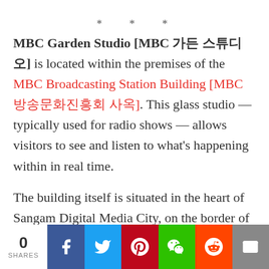* * *
MBC Garden Studio [MBC 가든 스튜디오] is located within the premises of the MBC Broadcasting Station Building [MBC방송문화진흥회 사옥]. This glass studio — typically used for radio shows — allows visitors to see and listen to what's happening within in real time.
The building itself is situated in the heart of Sangam Digital Media City, on the border of Sangam Cultural Square [상암문화광장] in Seoul's
0 SHARES | Facebook | Twitter | Pinterest | WeChat | Reddit | Email